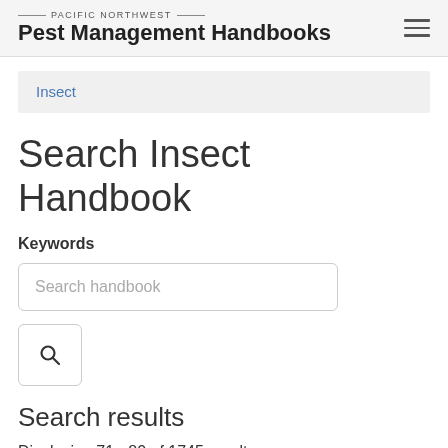PACIFIC NORTHWEST Pest Management Handbooks
Insect
Search Insect Handbook
Keywords
Search handbook
Search results
Displaying 71 - 80 of 1745 results.
Red lily leaf beetle (2012)